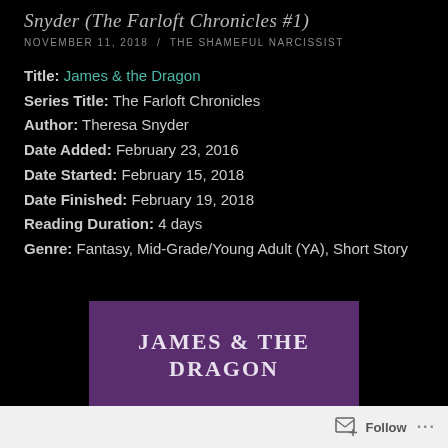Snyder (The Farloft Chronicles #1)
NOVEMBER 11, 2018 / THE SHAMEFUL NARCISSIST
Title: James & the Dragon
Series Title: The Farloft Chronicles
Author: Theresa Snyder
Date Added: February 23, 2016
Date Started: February 15, 2018
Date Finished: February 19, 2018
Reading Duration: 4 days
Genre: Fantasy, Mid-Grade/Young Adult (YA), Short Story
[Figure (illustration): Book cover image with purple background showing title JAMES & THE DRAGON in white serif uppercase letters]
Follow